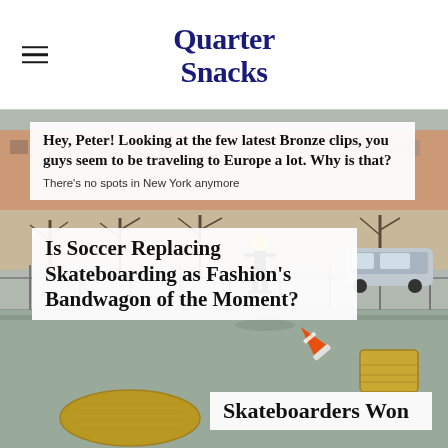Quarter Snacks
[Figure (photo): Outdoor skate plaza scene with a skateboarder in the middle distance, a fallen orange traffic cone, a hay bale to the right, another hay bale in the foreground left, and chain-link fence with parked cars in the background. Urban New York setting.]
Hey, Peter! Looking at the few latest Bronze clips, you guys seem to be traveling to Europe a lot. Why is that?
There's no spots in New York anymore
Is Soccer Replacing Skateboarding as Fashion's Bandwagon of the Moment?
Skateboarders Won